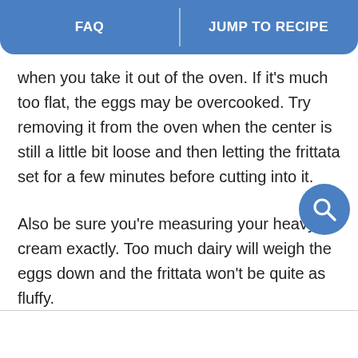FAQ | JUMP TO RECIPE
when you take it out of the oven. If it's much too flat, the eggs may be overcooked. Try removing it from the oven when the center is still a little bit loose and then letting the frittata set for a few minutes before cutting into it.
Also be sure you're measuring your heavy cream exactly. Too much dairy will weigh the eggs down and the frittata won't be quite as fluffy.